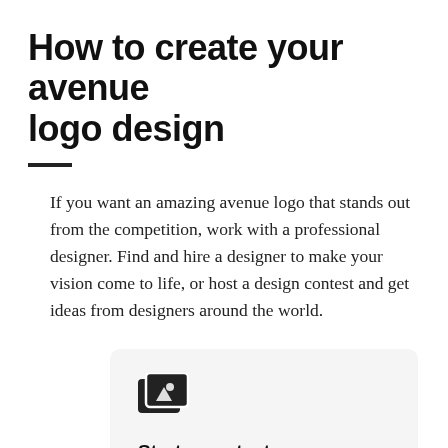How to create your avenue logo design
If you want an amazing avenue logo that stands out from the competition, work with a professional designer. Find and hire a designer to make your vision come to life, or host a design contest and get ideas from designers around the world.
Start a contest
Designers from around the world pitch you ideas. You